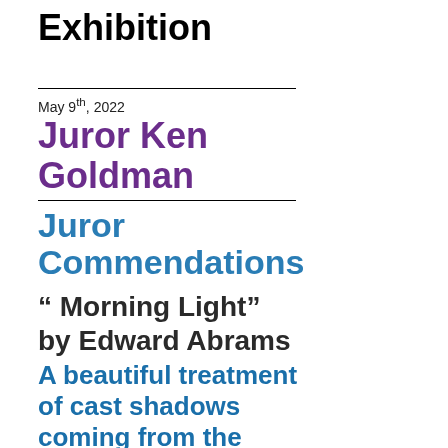Exhibition
May 9th, 2022
Juror Ken Goldman
Juror Commendations
“ Morning Light” by Edward Abrams
A beautiful treatment of cast shadows coming from the trees. I like the limited palette used. The rosy sky is duplicated in the